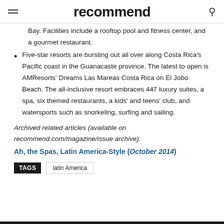recommend
Bay. Facilities include a rooftop pool and fitness center, and a gourmet restaurant.
Five-star resorts are bursting out all over along Costa Rica's Pacific coast in the Guanacaste province. The latest to open is AMResorts' Dreams Las Mareas Costa Rica on El Jobo Beach. The all-inclusive resort embraces 447 luxury suites, a spa, six themed restaurants, a kids' and teens' club, and watersports such as snorkeling, surfing and sailing.
Archived related articles (available on recommend.com/magazine/issue archive):
Ah, the Spas, Latin America-Style (October 2014)
TAGS  latin America